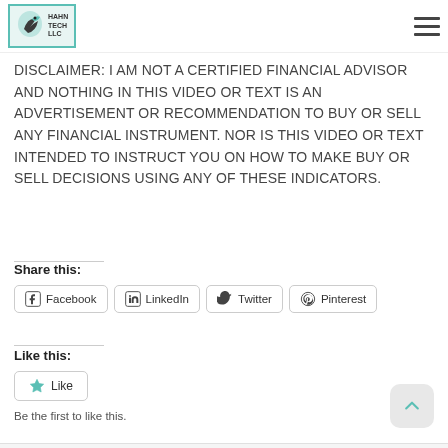Hahn Tech LLC — navigation header with logo and hamburger menu
knowledge needed to adjust the indicator settings to behavior you seek.
DISCLAIMER: I AM NOT A CERTIFIED FINANCIAL ADVISOR AND NOTHING IN THIS VIDEO OR TEXT IS AN ADVERTISEMENT OR RECOMMENDATION TO BUY OR SELL ANY FINANCIAL INSTRUMENT. NOR IS THIS VIDEO OR TEXT INTENDED TO INSTRUCT YOU ON HOW TO MAKE BUY OR SELL DECISIONS USING ANY OF THESE INDICATORS.
Share this:
Facebook  LinkedIn  Twitter  Pinterest
Like this:
Like
Be the first to like this.